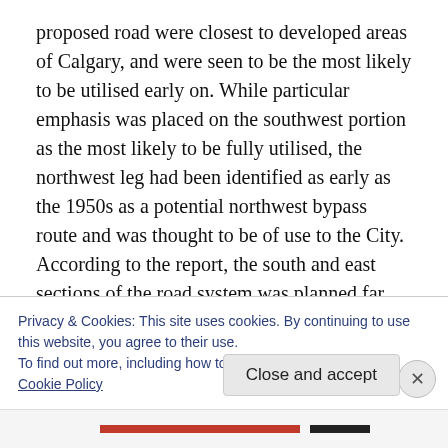proposed road were closest to developed areas of Calgary, and were seen to be the most likely to be utilised early on. While particular emphasis was placed on the southwest portion as the most likely to be fully utilised, the northwest leg had been identified as early as the 1950s as a potential northwest bypass route and was thought to be of use to the City. According to the report, the south and east sections of the road system was planned far enough from the built-up portions of Calgary
Privacy & Cookies: This site uses cookies. By continuing to use this website, you agree to their use.
To find out more, including how to control cookies, see here:
Cookie Policy
Close and accept